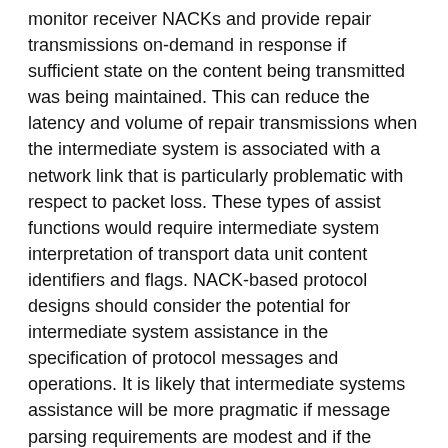monitor receiver NACKs and provide repair transmissions on-demand in response if sufficient state on the content being transmitted was being maintained. This can reduce the latency and volume of repair transmissions when the intermediate system is associated with a network link that is particularly problematic with respect to packet loss. These types of assist functions would require intermediate system interpretation of transport data unit content identifiers and flags. NACK-based protocol designs should consider the potential for intermediate system assistance in the specification of protocol messages and operations. It is likely that intermediate systems assistance will be more pragmatic if message parsing requirements are modest and if the amount of state an intermediate system is required to maintain is relatively small.
4. NACK-Based Reliable Multicast Applicability
The Multicast NACK building block applies to protocols wishing to employ negative acknowledgement to achieve reliable data transfer. Properly designed NACK-based